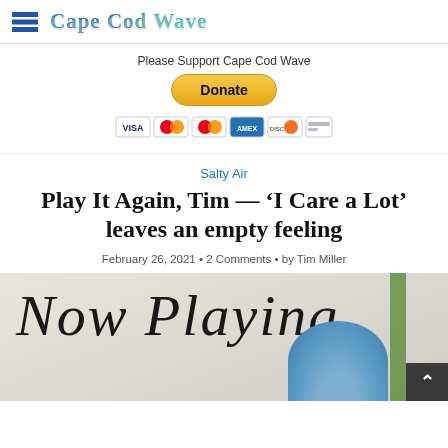Cape Cod Wave
Please Support Cape Cod Wave
[Figure (other): Donate button with PayPal and credit card payment icons (VISA, Mastercard, Discover, Amex)]
Salty Air
Play It Again, Tim — ‘I Care a Lot’ leaves an empty feeling
February 26, 2021 • 2 Comments • by Tim Miller
[Figure (photo): Photo showing a 'Now Playing' cursive sign in the background and a person wearing a cap in the foreground]